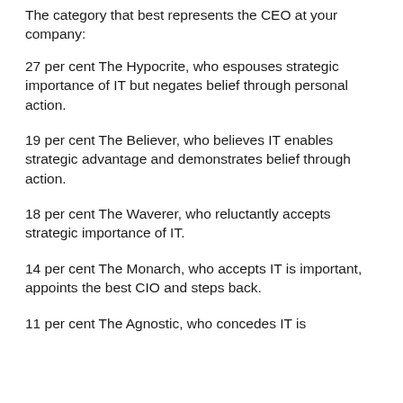The category that best represents the CEO at your company:
27 per cent The Hypocrite, who espouses strategic importance of IT but negates belief through personal action.
19 per cent The Believer, who believes IT enables strategic advantage and demonstrates belief through action.
18 per cent The Waverer, who reluctantly accepts strategic importance of IT.
14 per cent The Monarch, who accepts IT is important, appoints the best CIO and steps back.
11 per cent The Agnostic, who concedes IT is